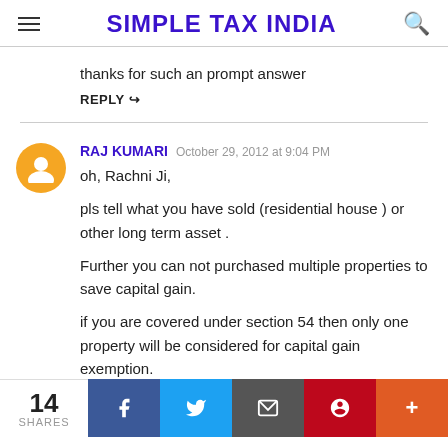SIMPLE TAX INDIA
thanks for such an prompt answer
REPLY
RAJ KUMARI  October 29, 2012 at 9:04 PM

oh, Rachni Ji,

pls tell what you have sold (residential house ) or other long term asset .

Further you can not purchased multiple properties to save capital gain.

if you are covered under section 54 then only one property will be considered for capital gain exemption.
14 SHARES